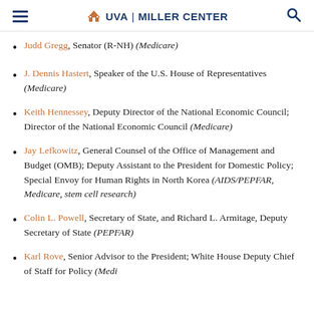UVA | MILLER CENTER
Judd Gregg, Senator (R-NH) (Medicare)
J. Dennis Hastert, Speaker of the U.S. House of Representatives (Medicare)
Keith Hennessey, Deputy Director of the National Economic Council; Director of the National Economic Council (Medicare)
Jay Lefkowitz, General Counsel of the Office of Management and Budget (OMB); Deputy Assistant to the President for Domestic Policy; Special Envoy for Human Rights in North Korea (AIDS/PEPFAR, Medicare, stem cell research)
Colin L. Powell, Secretary of State, and Richard L. Armitage, Deputy Secretary of State (PEPFAR)
Karl Rove, Senior Advisor to the President; White House Deputy Chief of Staff for Policy (Medi...)